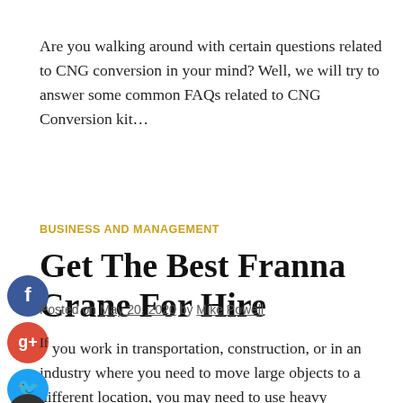Are you walking around with certain questions related to CNG conversion in your mind? Well, we will try to answer some common FAQs related to CNG Conversion kit…
BUSINESS AND MANAGEMENT
Get The Best Franna Crane For Hire
Posted on May 20, 2020 by Mike Powell
If you work in transportation, construction, or in an industry where you need to move large objects to a different location, you may need to use heavy machinery…